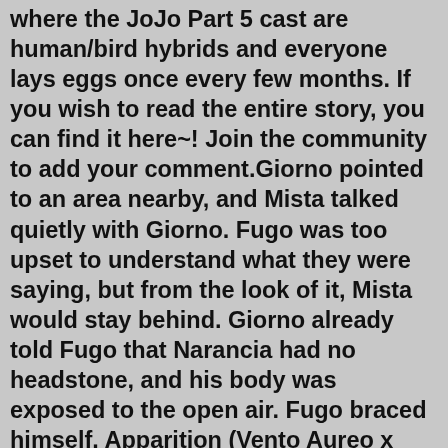where the JoJo Part 5 cast are human/bird hybrids and everyone lays eggs once every few months. If you wish to read the entire story, you can find it here~! Join the community to add your comment.Giorno pointed to an area nearby, and Mista talked quietly with Giorno. Fugo was too upset to understand what they were saying, but from the look of it, Mista would stay behind. Giorno already told Fugo that Narancia had no headstone, and his body was exposed to the open air. Fugo braced himself. Apparition (Vento Aureo x Reader) by redacted. 329K 22K 151. "It's a good day to be a ghost." In which a girl lives out her best life despite the worst. Started 9/1/2020 Finished 2/3/2021 #1 in lasquadra 10/5/2020 #1 in... Completed. mista. brunobuccellati. jojopart5. Discover more posts about fugo-x-giorno. It’s time to try Tumblr. Y o u ’l l n e v e r b e b o r e d a g a i n. May 31, 2021 · JoJo - Giorno x Fugo wedding. A doodle I made for Engaged, a "short" story about Giorno wanting to get married to Fugo. XD. Join the community to add your comment. the reinforcement fugo finds in your